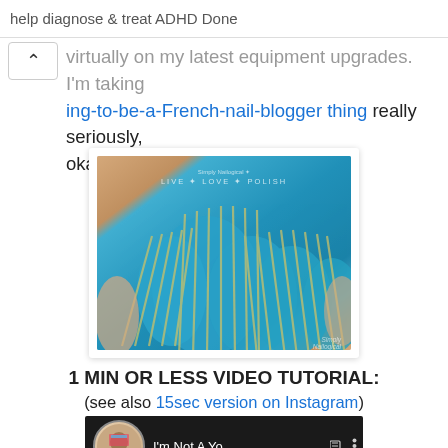help diagnose & treat ADHD Done
...virtually on my latest equipment upgrades. I'm taking ing-to-be-a-French-nail-blogger thing really seriously, okay.
[Figure (photo): Close-up photo of fingernails painted with a teal/blue polish featuring diagonal gold/silver stripe stamping nail art design. Watermark reads LIVE LOVE POLISH and Simply Nailogical.]
1 MIN OR LESS VIDEO TUTORIAL:
(see also 15sec version on Instagram)
[Figure (screenshot): YouTube video thumbnail showing a woman with text 'I'm Not A Yo...' and video controls]